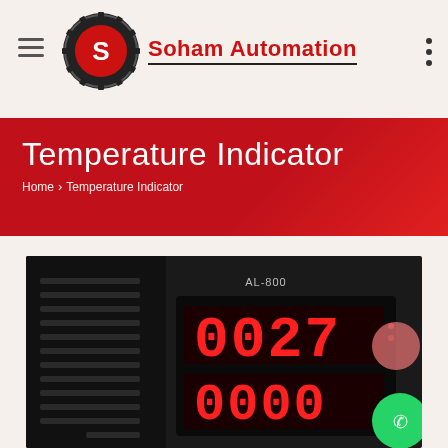Soham Automation
Temperature Indicator
Home › Temperature Indicator
[Figure (photo): Close-up photograph of a digital temperature indicator device (model AL-800 type) showing a black panel-mount unit with red LED 7-segment display reading 0027 on the upper row and 0000 on the lower row. The device has ventilation slots on the left side.]